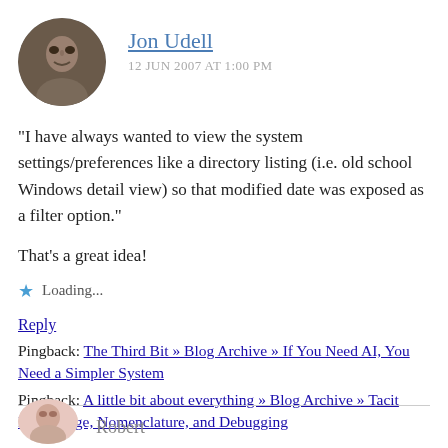Jon Udell
12 JUN 2007 AT 1:00 PM
"I have always wanted to view the system settings/preferences like a directory listing (i.e. old school Windows detail view) so that modified date was exposed as a filter option."
That's a great idea!
Loading...
Reply
Pingback: The Third Bit » Blog Archive » If You Need AI, You Need a Simpler System
Pingback: A little bit about everything » Blog Archive » Tacit Knowledge, Nomenclature, and Debugging
Robert